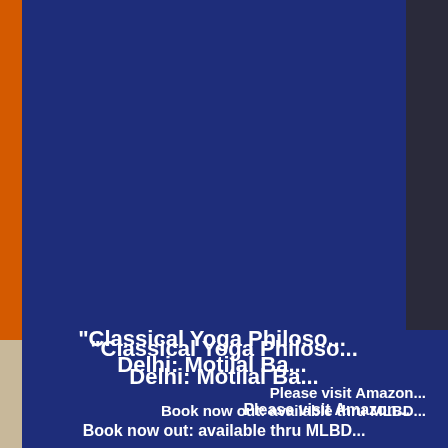[Figure (photo): Book cover advertisement page with dark blue background, showing book covers on left and right sides. Left side shows orange and cream-colored book spines/covers, right side shows a darker panel with another book. Bottom portion contains promotional text about 'Classical Yoga Philosophy' published by Delhi: Motilal Banarsidass, with a call to visit Amazon and that the book is available through MLBD.]
"Classical Yoga Philoso... Delhi: Motilal Ba...
Please visit Amazon... Book now out: available thru MLBD...